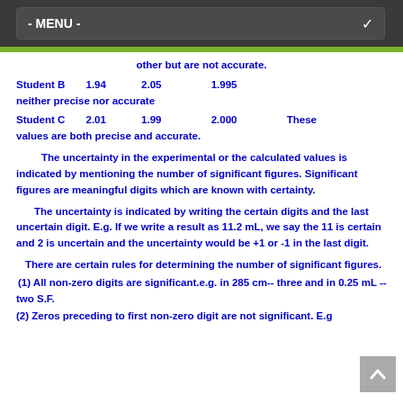- MENU -
other but are not accurate.
Student B    1.94    2.05    1.995    neither precise nor accurate
Student C    2.01    1.99    2.000    These values are both precise and accurate.
The uncertainty in the experimental or the calculated values is indicated by mentioning the number of significant figures. Significant figures are meaningful digits which are known with certainty.
The uncertainty is indicated by writing the certain digits and the last uncertain digit. E.g. If we write a result as 11.2 mL, we say the 11 is certain and 2 is uncertain and the uncertainty would be +1 or -1 in the last digit.
There are certain rules for determining the number of significant figures.
(1) All non-zero digits are significant.e.g. in 285 cm-- three and in 0.25 mL -- two S.F.
(2) Zeros preceding to first non-zero digit are not significant. E.g